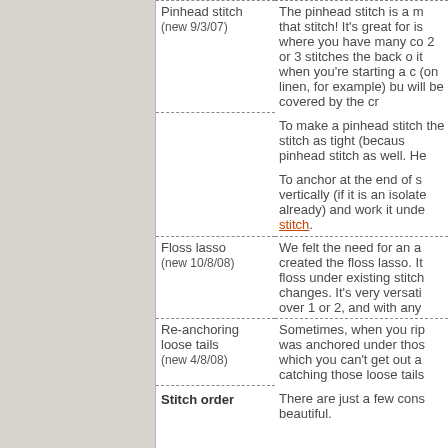| Term | Description |
| --- | --- |
| Pinhead stitch
(new 9/3/07) | The pinhead stitch is a m that stitch! It's great for is where you have many co 2 or 3 stitches the back o it when you're starting a c (on linen, for example) bu will be covered by the cr

To make a pinhead stitch the stitch as tight (becaus pinhead stitch as well. He

To anchor at the end of s vertically (if it is an isolate already) and work it unde stitch. |
| Floss lasso
(new 10/8/08) | We felt the need for an a created the floss lasso. It floss under existing stitch changes. It's very versati over 1 or 2, and with any |
| Re-anchoring loose tails
(new 4/8/08) | Sometimes, when you rip was anchored under thos which you can't get out a catching those loose tails |
| Stitch order | There are just a few cons beautiful. |